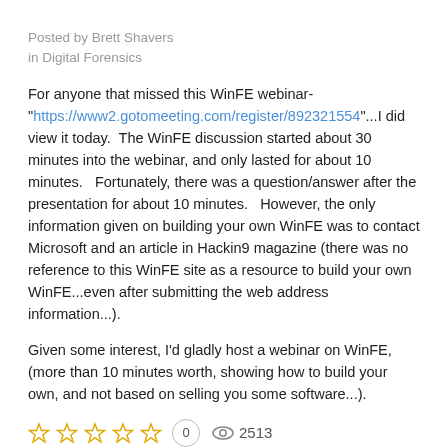Posted by Brett Shavers
in Digital Forensics
For anyone that missed this WinFE webinar- "https://www2.gotomeeting.com/register/892321554"...I did view it today.  The WinFE discussion started about 30 minutes into the webinar, and only lasted for about 10 minutes.   Fortunately, there was a question/answer after the presentation for about 10 minutes.   However, the only information given on building your own WinFE was to contact Microsoft and an article in Hackin9 magazine (there was no reference to this WinFE site as a resource to build your own WinFE...even after submitting the web address information...).
Given some interest, I'd gladly host a webinar on WinFE, (more than 10 minutes worth, showing how to build your own, and not based on selling you some software...).
★☆☆☆☆ 0 views 2513
Tags: winfe